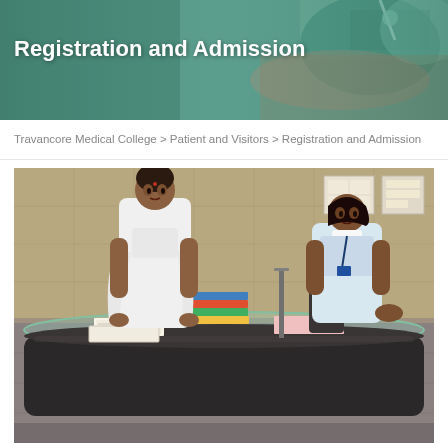[Figure (photo): Header banner photo showing a medical/hospital setting with teal/green scrubs background, overlaid with bold white title text 'Registration and Admission']
Registration and Admission
Travancore Medical College > Patient and Visitors > Registration and Admission
[Figure (photo): Photo of hospital registration/admission desk with two female staff members in white uniforms. One is standing and looking down at papers, the other is seated at the reception counter. A curved glass-topped reception desk is visible with books and papers. The background shows tiled walls.]